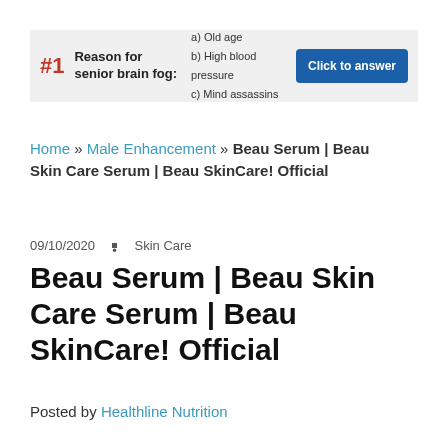[Figure (infographic): Advertisement banner: #1 Reason for senior brain fog: with options a) Old age b) High blood pressure c) Mind assassins and a 'Click to answer' button]
Home » Male Enhancement » Beau Serum | Beau Skin Care Serum | Beau SkinCare! Official
09/10/2020 • Skin Care
Beau Serum | Beau Skin Care Serum | Beau SkinCare! Official
Posted by Healthline Nutrition